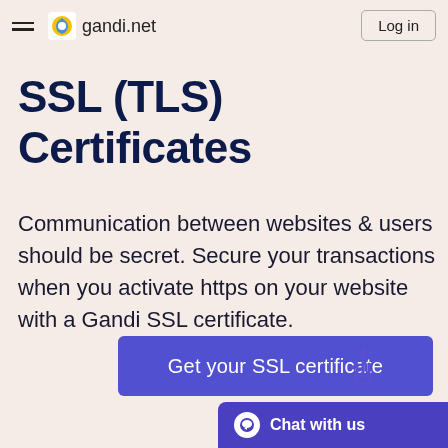gandi.net  Log in
SSL (TLS) Certificates
Communication between websites & users should be secret. Secure your transactions when you activate https on your website with a Gandi SSL certificate.
Get your SSL certificate
Chat with us